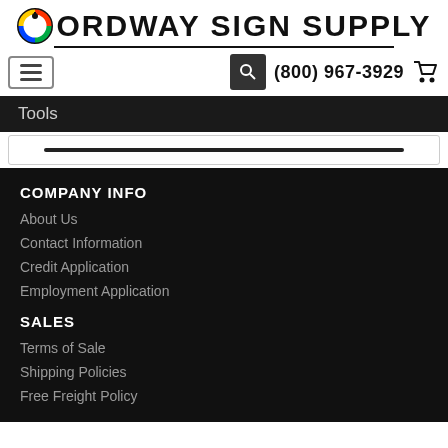Ordway Sign Supply
(800) 967-3929
Tools
COMPANY INFO
About Us
Contact Information
Credit Application
Employment Application
SALES
Terms of Sale
Shipping Policies
Free Freight Policy